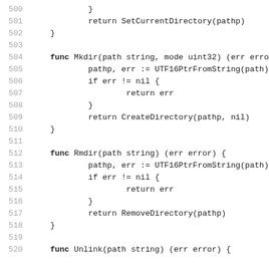500     }
501         return SetCurrentDirectory(pathp)
502 }
503
504 func Mkdir(path string, mode uint32) (err error
505         pathp, err := UTF16PtrFromString(path)
506         if err != nil {
507                 return err
508         }
509         return CreateDirectory(pathp, nil)
510 }
511
512 func Rmdir(path string) (err error) {
513         pathp, err := UTF16PtrFromString(path)
514         if err != nil {
515                 return err
516         }
517         return RemoveDirectory(pathp)
518 }
519
520 func Unlink(path string) (err error) {